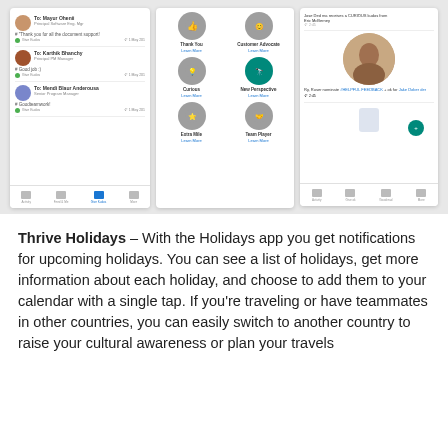[Figure (screenshot): Three mobile app screenshots side by side. Left: feedback list showing messages to Mayur Ohenii, Karthik Bhanchy, and Mendi Blaur Anderousa with profile pictures and timestamps. Middle: badge selection screen with icons for Thank You, Customer Advocate, Curious, New Perspective, Extra Mile, Team Player with Learn More links. Right: notification feed showing received feedback with profile photos and activity stream.]
Thrive Holidays – With the Holidays app you get notifications for upcoming holidays. You can see a list of holidays, get more information about each holiday, and choose to add them to your calendar with a single tap. If you're traveling or have teammates in other countries, you can easily switch to another country to raise your cultural awareness or plan your travels